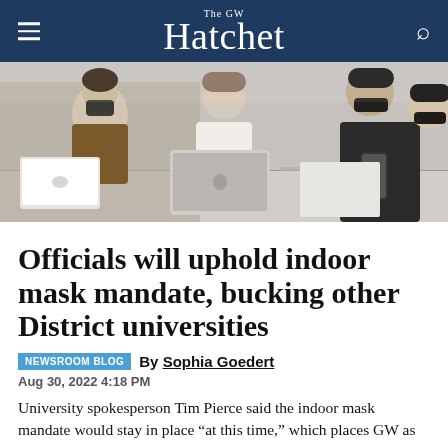The GW Hatchet
[Figure (photo): Students wearing masks sitting in a classroom with laptops and tablets on desks]
Officials will uphold indoor mask mandate, bucking other District universities
NEWSROOM BLOG  By Sophia Goedert
Aug 30, 2022 4:18 PM
University spokesperson Tim Pierce said the indoor mask mandate would stay in place “at this time,” which places GW as the only major university in D.C. requiring masks in all indoor settings.